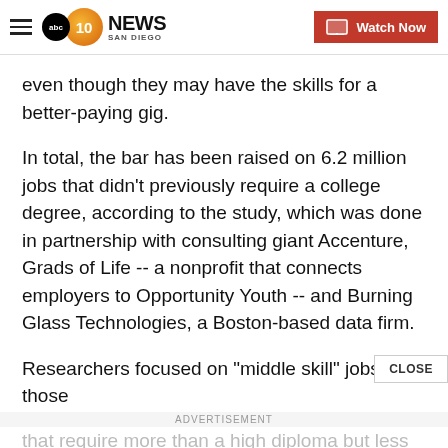10 News San Diego | ABC - Watch Now
even though they may have the skills for a better-paying gig.
In total, the bar has been raised on 6.2 million jobs that didn't previously require a college degree, according to the study, which was done in partnership with consulting giant Accenture, Grads of Life -- a nonprofit that connects employers to Opportunity Youth -- and Burning Glass Technologies, a Boston-based data firm.
Researchers focused on "middle skill" jobs -- those that require more than a high diploma but less than a 4-year college degree.